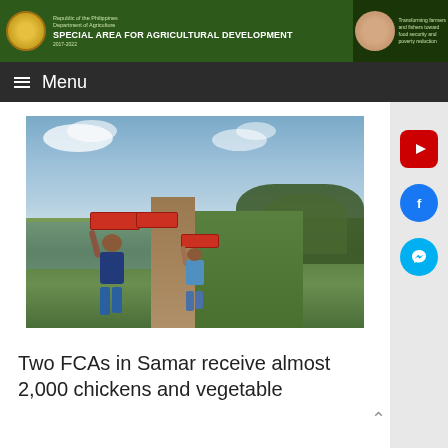Special Area for Agricultural Development — Department of Agriculture, Republic of the Philippines
Menu
[Figure (photo): Two farmers carrying red crates on their heads while walking along a narrow earthen path through rice fields, with trees in the background and a partly cloudy sky]
Two FCAs in Samar receive almost 2,000 chickens and vegetable